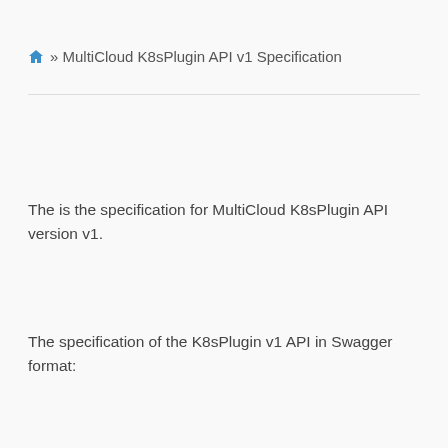⌂ » MultiCloud K8sPlugin API v1 Specification
The is the specification for MultiCloud K8sPlugin API version v1.
The specification of the K8sPlugin v1 API in Swagger format: